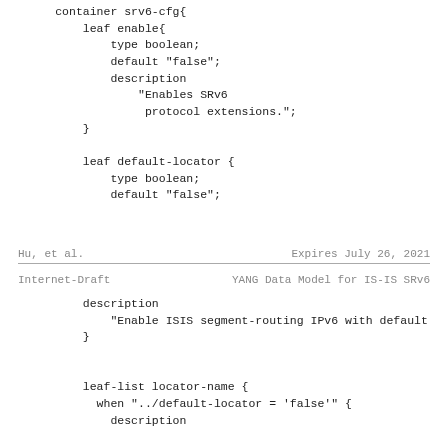container srv6-cfg{
    leaf enable{
        type boolean;
        default "false";
        description
            "Enables SRv6
             protocol extensions.";
    }

    leaf default-locator {
        type boolean;
        default "false";
Hu, et al.                    Expires July 26, 2021
Internet-Draft        YANG Data Model for IS-IS SRv6
description
            "Enable ISIS segment-routing IPv6 with default
        }


        leaf-list locator-name {
          when "../default-locator = 'false'" {
            description